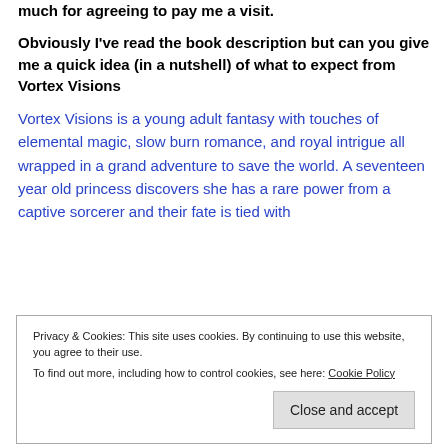much for agreeing to pay me a visit.
Obviously I've read the book description but can you give me a quick idea (in a nutshell) of what to expect from Vortex Visions
Vortex Visions is a young adult fantasy with touches of elemental magic, slow burn romance, and royal intrigue all wrapped in a grand adventure to save the world. A seventeen year old princess discovers she has a rare power from a captive sorcerer and their fate is tied with
Privacy & Cookies: This site uses cookies. By continuing to use this website, you agree to their use.
To find out more, including how to control cookies, see here: Cookie Policy